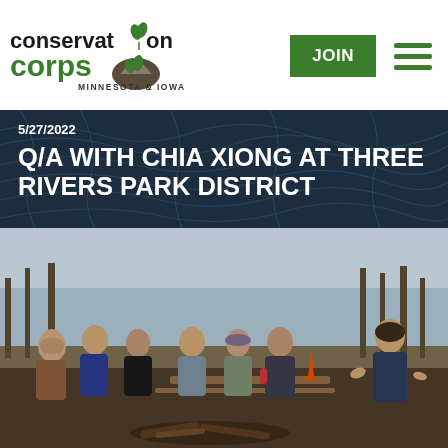[Figure (logo): Conservation Corps Minnesota & Iowa logo with plant/hand icon]
JOIN
5/27/2022
Q/A WITH CHIA XIONG AT THREE RIVERS PARK DISTRICT
[Figure (photo): Group of people sitting outdoors at a picnic table area near a lake, listening to a speaker on the right who is gesturing with their hands. Bare trees and water visible in the background. A traffic cone is visible near the group.]